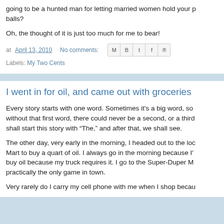going to be a hunted man for letting married women hold your balls?
Oh, the thought of it is just too much for me to bear!
at April 13, 2010   No comments:
Labels: My Two Cents
I went in for oil, and came out with groceries
Every story starts with one word. Sometimes it's a big word, so without that first word, there could never be a second, or a third. shall start this story with “The,” and after that, we shall see.
The other day, very early in the morning, I headed out to the local Mart to buy a quart of oil. I always go in the morning because I buy oil because my truck requires it. I go to the Super-Duper M practically the only game in town.
Very rarely do I carry my cell phone with me when I shop becau